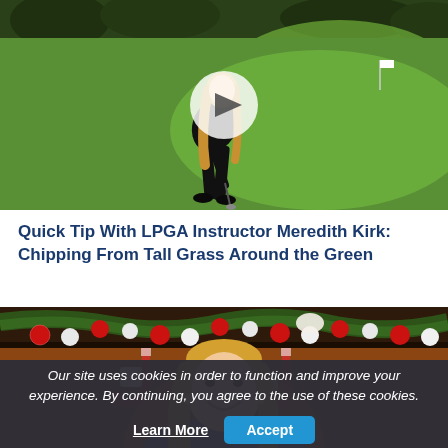[Figure (photo): A blonde woman in black clothing chipping a golf ball on a green golf course, with a white circular play button overlay indicating a video thumbnail.]
Quick Tip With LPGA Instructor Meredith Kirk: Chipping From Tall Grass Around the Green
[Figure (photo): A smiling blonde woman in front of a Christmas mantle decorated with red and white ornaments, garland, and stockings.]
Our site uses cookies in order to function and improve your experience. By continuing, you agree to the use of these cookies.
Learn More   Accept